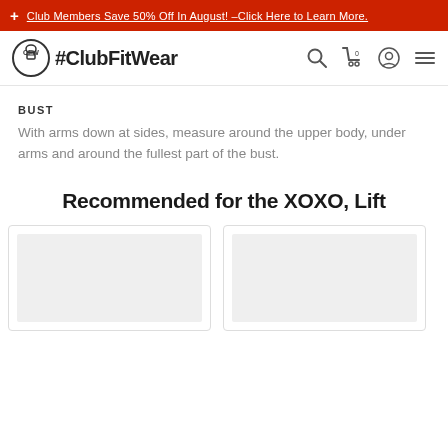+ Club Members Save 50% Off In August! –Click Here to Learn More.
[Figure (logo): ClubFitWear logo with kettlebell icon and hashtag text #ClubFitWear]
BUST
With arms down at sides, measure around the upper body, under arms and around the fullest part of the bust.
Recommended for the XOXO, Lift
[Figure (photo): Product image placeholder (light gray box)]
[Figure (photo): Product image placeholder (light gray box)]